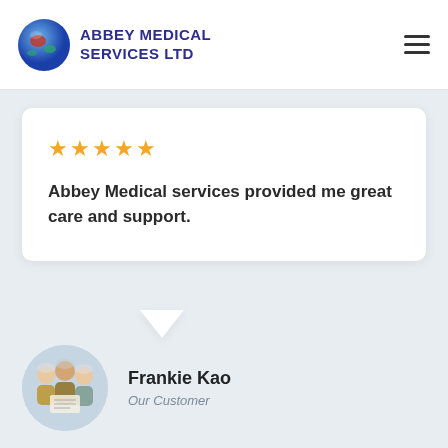ABBEY MEDICAL SERVICES LTD
Abbey Medical services provided me great care and support.
Frankie Kao
Our Customer